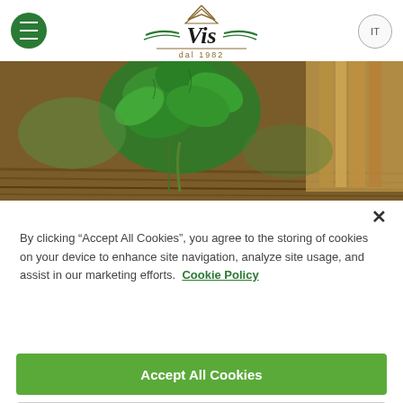[Figure (logo): Vis dal 1982 green and brown logo with mountain and decorative swooshes]
[Figure (photo): Hero image showing fresh mint leaves on a wooden surface with books in background]
By clicking “Accept All Cookies”, you agree to the storing of cookies on your device to enhance site navigation, analyze site usage, and assist in our marketing efforts.  Cookie Policy
Accept All Cookies
Reject All
Cookies Settings